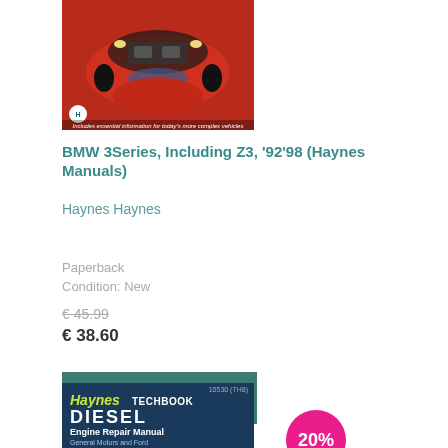[Figure (photo): Book cover of BMW 3Series Haynes Manual showing red BMW car with hood open]
BMW 3Series, Including Z3, '92'98 (Haynes Manuals)
Haynes Haynes
Paperback
Condition: New
€ 45.99
€ 38.60
ADD TO CART
[Figure (photo): Haynes Techbook Diesel Engine Repair Manual book cover showing General Motors and Ford]
20%